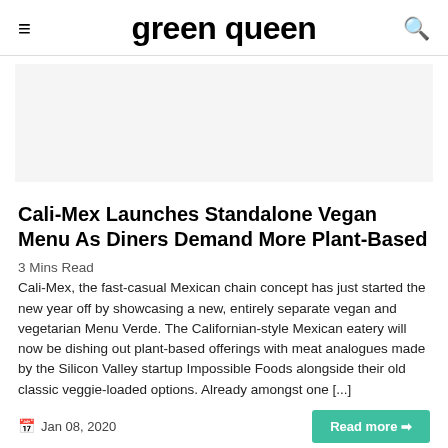green queen
[Figure (photo): Gray placeholder image area for an article image]
Cali-Mex Launches Standalone Vegan Menu As Diners Demand More Plant-Based
3 Mins Read
Cali-Mex, the fast-casual Mexican chain concept has just started the new year off by showcasing a new, entirely separate vegan and vegetarian Menu Verde. The Californian-style Mexican eatery will now be dishing out plant-based offerings with meat analogues made by the Silicon Valley startup Impossible Foods alongside their old classic veggie-loaded options. Already amongst one [...]
Jan 08, 2020
Read more →